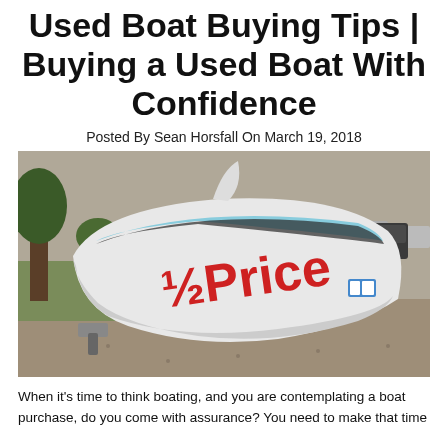Used Boat Buying Tips | Buying a Used Boat With Confidence
Posted By Sean Horsfall On March 19, 2018
[Figure (photo): A white used boat lying on its side on a gravel surface with red spray-painted text reading '½ Price' on the hull. Trees and buildings visible in background.]
When it's time to think boating, and you are contemplating a boat purchase, do you come with assurance? You need to make that time